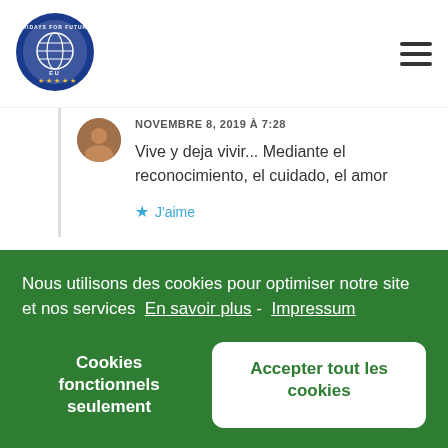[Figure (logo): Fridays for Future EU circular logo with globe and stars on blue background]
NOVEMBRE 8, 2019 À 7:28
Vive y deja vivir... Mediante el reconocimiento, el cuidado, el amor
J'aime
Corentin · OCTOBRE 10, 2019 À 10:0 RÉPONDRE
Nous utilisons des cookies pour optimiser notre site et nos services  En savoir plus -  Impressum
Cookies fonctionnels seulement
Accepter tout les cookies